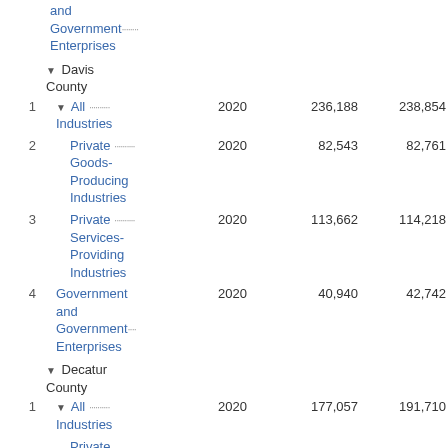| # | Industry | Year | Value1 | Value2 | Value3 |
| --- | --- | --- | --- | --- | --- |
|  | and Government Enterprises |  |  |  |  |
|  | ▼ Davis County |  |  |  |  |
| 1 | ▼ All Industries | 2020 | 236,188 | 238,854 | 2… |
| 2 | Private Goods-Producing Industries | 2020 | 82,543 | 82,761 | … |
| 3 | Private Services-Providing Industries | 2020 | 113,662 | 114,218 | 1… |
| 4 | Government and Government Enterprises | 2020 | 40,940 | 42,742 | … |
|  | ▼ Decatur County |  |  |  |  |
| 1 | ▼ All Industries | 2020 | 177,057 | 191,710 | 19… |
|  | Private… |  |  |  |  |